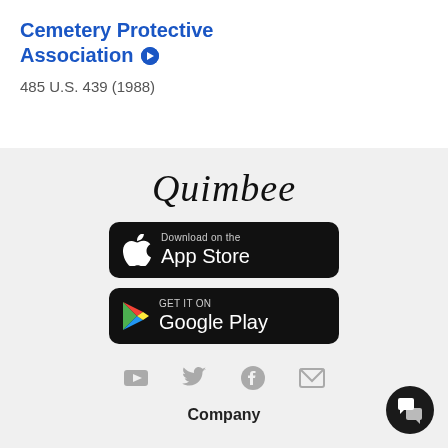Cemetery Protective Association
485 U.S. 439 (1988)
[Figure (logo): Quimbee logo in italic script font]
[Figure (infographic): Download on the App Store button (black rounded rectangle with Apple logo)]
[Figure (infographic): GET IT ON Google Play button (black rounded rectangle with Play Store logo)]
[Figure (infographic): Social media icons row: YouTube, Twitter, Facebook, Email]
Company